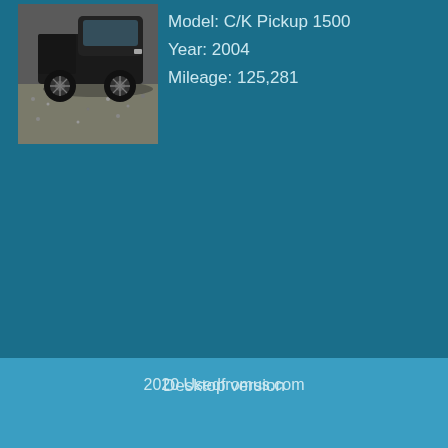[Figure (photo): Photo of a dark-colored pickup truck (C/K Pickup 1500) viewed from the side/front, parked on a gravel surface]
Model: C/K Pickup 1500
Year: 2004
Mileage: 125,281
2020 Usedfromus.com
Desktop version